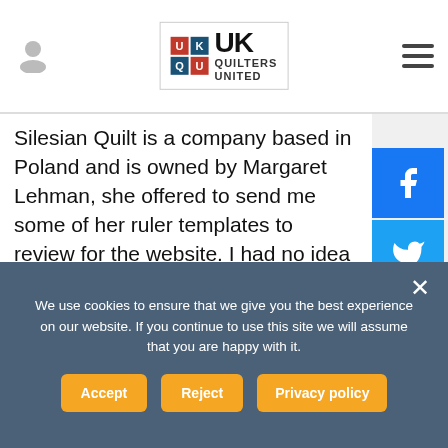[Figure (logo): UK Quilters United logo with colored grid and text]
Silesian Quilt is a company based in Poland and is owned by Margaret Lehman, she offered to send me some of her ruler templates to review for the website. I had no idea what she was going to send me, but waited patiently for their arrival. When the box of https://ukqu.co.uk/shop/uncategorized/free-motion-quilting-grip-5 arrived I couldn't help but smile,…
[Figure (infographic): Social sharing sidebar with Facebook, Twitter, Pinterest, and Add buttons]
We use cookies to ensure that we give you the best experience on our website. If you continue to use this site we will assume that you are happy with it.